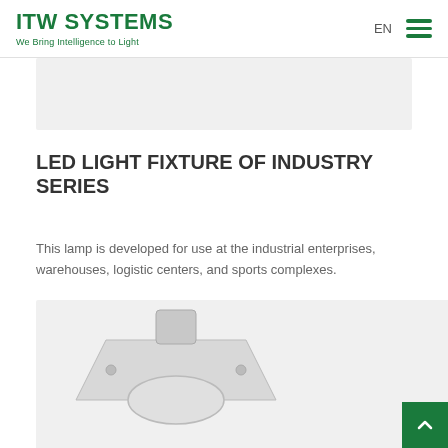ITW SYSTEMS – We Bring Intelligence to Light
[Figure (photo): Gray banner/hero image placeholder at top of page]
LED LIGHT FIXTURE OF INDUSTRY SERIES
This lamp is developed for use at the industrial enterprises, warehouses, logistic centers, and sports complexes.
[Figure (photo): Product photo showing LED industrial light fixture, partially visible at bottom of page]